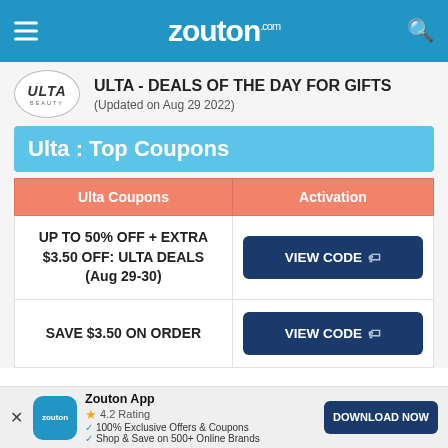zouton.com
ULTA - DEALS OF THE DAY FOR GIFTS
(Updated on Aug 29 2022)
Ulta : Top Coupons
| Ulta Coupons | Activation |
| --- | --- |
| UP TO 50% OFF + EXTRA $3.50 OFF: ULTA DEALS (Aug 29-30) | VIEW CODE |
| SAVE $3.50 ON ORDER | VIEW CODE |
Zouton App · 4.2 Rating · 100% Exclusive Offers & Coupons · Shop & Save on 500+ Online Brands · DOWNLOAD NOW